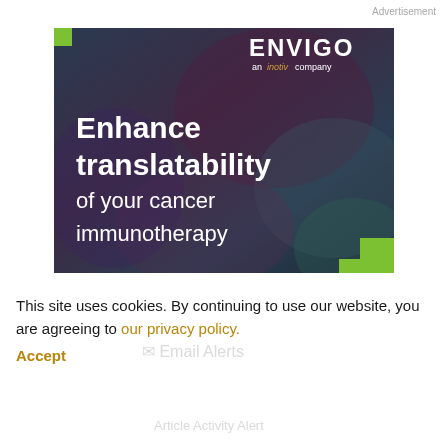Advertisement
[Figure (illustration): Envigo (an inotiv company) advertisement banner showing a dark blue/purple microscopy image background with white bold text reading 'Enhance translatability of your cancer immunotherapy' and a green square accent in the bottom-right corner and top-left corner.]
This site uses cookies. By continuing to use our website, you are agreeing to our privacy policy.
Accept